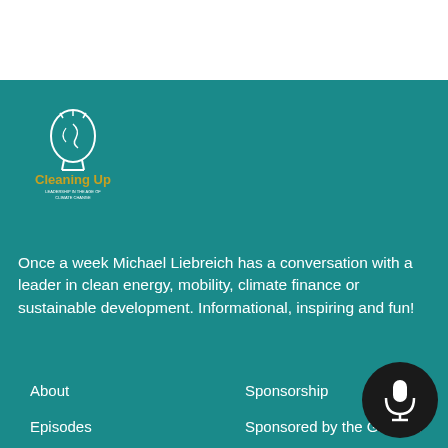[Figure (logo): Cleaning Up podcast logo - outline of a head with a lightbulb, text 'Cleaning Up' in gold/yellow, subtitle text below in white]
Once a week Michael Liebreich has a conversation with a leader in clean energy, mobility, climate finance or sustainable development. Informational, inspiring and fun!
About
Episodes
Sponsorship
Sponsored by the Gilardini